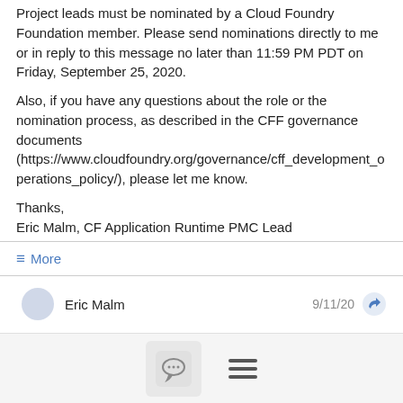Project leads must be nominated by a Cloud Foundry Foundation member. Please send nominations directly to me or in reply to this message no later than 11:59 PM PDT on Friday, September 25, 2020.
Also, if you have any questions about the role or the nomination process, as described in the CFF governance documents (https://www.cloudfoundry.org/governance/cff_development_operations_policy/), please let me know.
Thanks,
Eric Malm, CF Application Runtime PMC Lead
≡ More
Eric Malm  9/11/20
[Figure (screenshot): Bottom navigation bar with chat bubble icon button and hamburger menu icon]